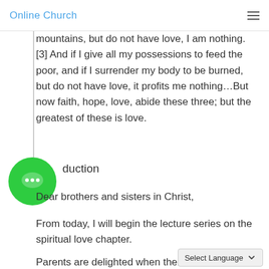Online Church
mountains, but do not have love, I am nothing. [3] And if I give all my possessions to feed the poor, and if I surrender my body to be burned, but do not have love, it profits me nothing…But now faith, hope, love, abide these three; but the greatest of these is love.
duction
Dear brothers and sisters in Christ,
From today, I will begin the lecture series on the spiritual love chapter.
Parents are delighted when their children listen to them very well. For example, if the parents tell their children to study, they stu... When parents tell them not to fight with their friends